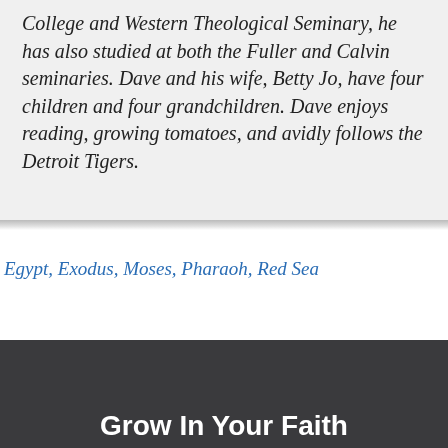College and Western Theological Seminary, he has also studied at both the Fuller and Calvin seminaries. Dave and his wife, Betty Jo, have four children and four grandchildren. Dave enjoys reading, growing tomatoes, and avidly follows the Detroit Tigers.
Egypt, Exodus, Moses, Pharaoh, Red Sea
Grow In Your Faith